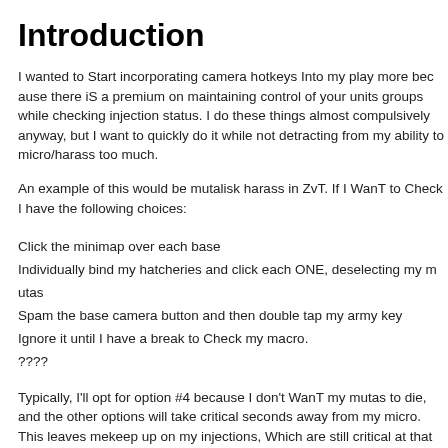Introduction
I wanted to Start incorporating camera hotkeys Into my play more because there iS a premium on maintaining control of your units groups while checking injection status. I do these things almost compulsively anyway, but I want to quickly do it while not detracting from my ability to micro/harass too much.
An example of this would be mutalisk harass in ZvT. If I WanT to Check I have the following choices:
Click the minimap over each base
Individually bind my hatcheries and click each ONE, deselecting my mutas
Spam the base camera button and then double tap my army key
Ignore it until I have a break to Check my macro.
????
Typically, I'll opt for option #4 because I don't WanT my mutas to die, and the other options will take critical seconds away from my micro. This leaves me unable to keep up on my injections, Which are still critical at that 10-12 minute point.